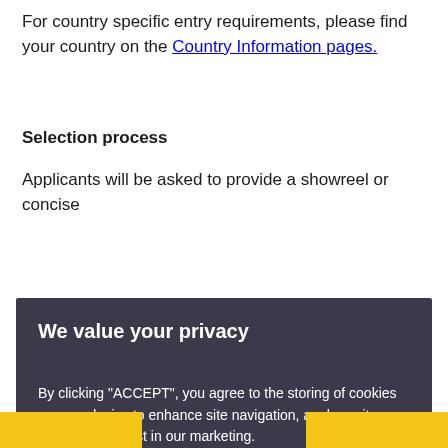For country specific entry requirements, please find your country on the Country Information pages.
Selection process
Applicants will be asked to provide a showreel or concise portfolio of previous work for review, along with a
[Figure (screenshot): Cookie consent overlay with dark background, title 'We value your privacy', descriptive text about cookies, an ACCEPT button in yellow, and a VIEW COOKIE SETTINGS button in yellow.]